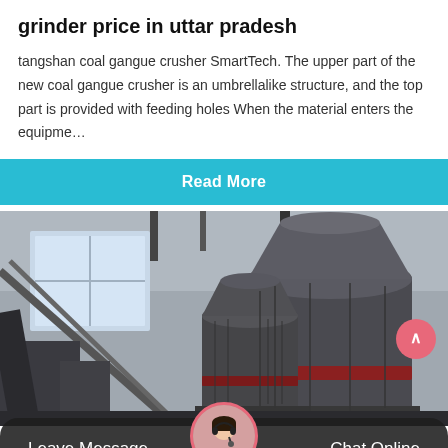grinder price in uttar pradesh
tangshan coal gangue crusher SmartTech. The upper part of the new coal gangue crusher is an umbrellalike structure, and the top part is provided with feeding holes When the material enters the equipme…
Read More
[Figure (photo): Industrial grinding/crusher machines in a factory setting, large dark grey cylindrical grinding mill equipment with red accent band, industrial interior background]
Leave Message
Chat Online